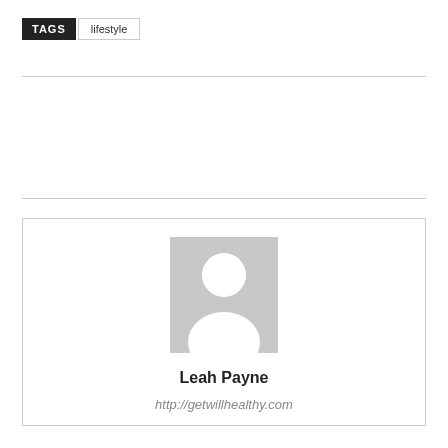TAGS  lifestyle
[Figure (illustration): Author profile card with a gray placeholder avatar silhouette showing a person icon, name 'Leah Payne', and URL 'http://getwillhealthy.com']
Leah Payne
http://getwillhealthy.com